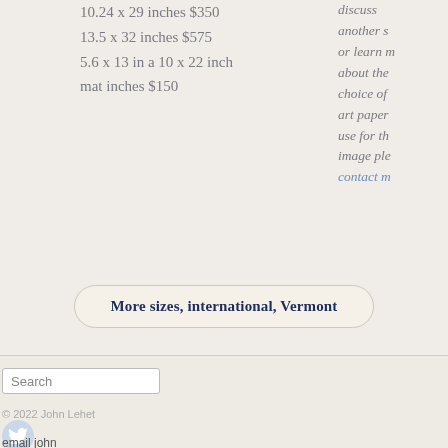10.24 x 29 inches $350
13.5 x 32 inches $575
5.6 x 13 in a 10 x 22 inch mat inches $150
discuss another s or learn m about the choice of art paper use for th image ple contact m
More sizes, international, Vermont
Search
© 2022 John Lehet
email john